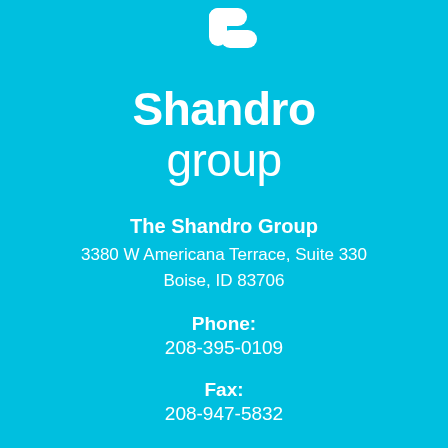[Figure (logo): Shandro Group logo with white icon (stylized shape) and white text 'Shandro group' on cyan background]
The Shandro Group
3380 W Americana Terrace, Suite 330
Boise, ID 83706
Phone:
208-395-0109
Fax:
208-947-5832
[Figure (logo): Facebook icon (white 'f' in a white rounded square outline)]